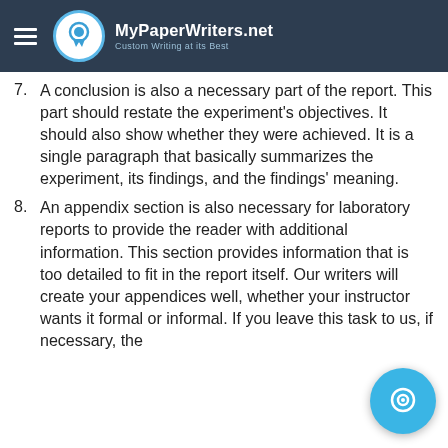MyPaperWriters.net — Custom Writing at its Best
7. A conclusion is also a necessary part of the report. This part should restate the experiment's objectives. It should also show whether they were achieved. It is a single paragraph that basically summarizes the experiment, its findings, and the findings' meaning.
8. An appendix section is also necessary for laboratory reports to provide the reader with additional information. This section provides information that is too detailed to fit in the report itself. Our writers will create your appendices well, whether your instructor wants it formal or informal. If you leave this task to us, if necessary, the